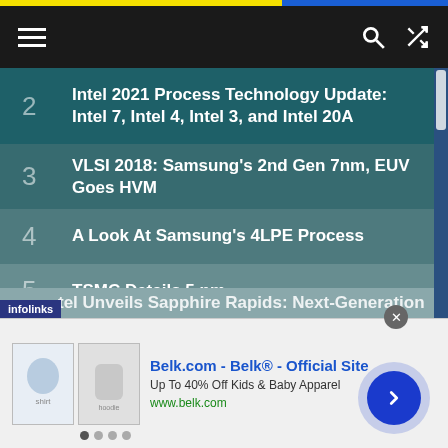Navigation bar with menu, search, and shuffle icons
2  Intel 2021 Process Technology Update: Intel 7, Intel 4, Intel 3, and Intel 20A
3  VLSI 2018: Samsung's 2nd Gen 7nm, EUV Goes HVM
4  A Look At Samsung's 4LPE Process
5  TSMC Details 5 nm
6  Intel Unveils Sapphire Rapids: Next-Generation
[Figure (screenshot): Belk.com advertisement banner showing kids apparel with shirt and hoodie images, title 'Belk.com - Belk® - Official Site', subtitle 'Up To 40% Off Kids & Baby Apparel', url 'www.belk.com']